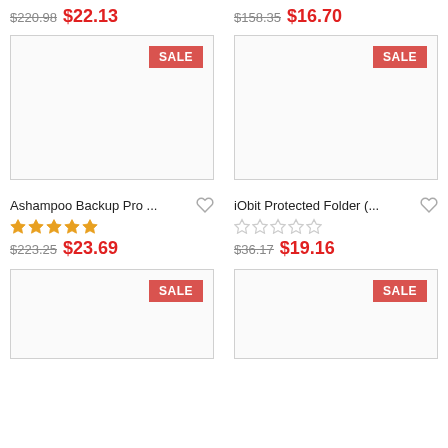$220.98 $22.13
$158.35 $16.70
[Figure (other): Product image placeholder with SALE badge]
[Figure (other): Product image placeholder with SALE badge]
Ashampoo Backup Pro ...
iObit Protected Folder (...
★★★★★
☆☆☆☆☆
$223.25 $23.69
$36.17 $19.16
[Figure (other): Product image placeholder with SALE badge]
[Figure (other): Product image placeholder with SALE badge]